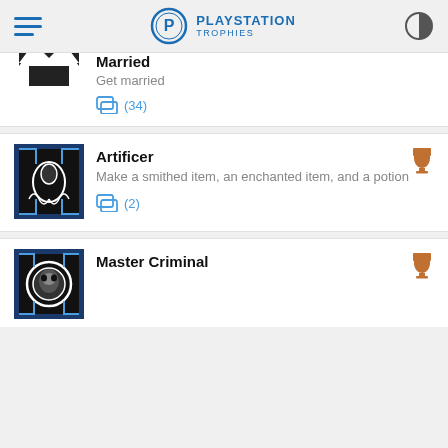PLAYSTATION TROPHIES
Married
Get married
(34)
Artificer
Make a smithed item, an enchanted item, and a potion
(2)
Master Criminal